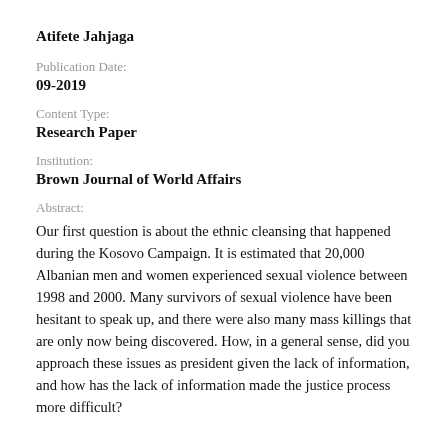Atifete Jahjaga
Publication Date:
09-2019
Content Type:
Research Paper
Institution:
Brown Journal of World Affairs
Abstract:
Our first question is about the ethnic cleansing that happened during the Kosovo Campaign. It is estimated that 20,000 Albanian men and women experienced sexual violence between 1998 and 2000. Many survivors of sexual violence have been hesitant to speak up, and there were also many mass killings that are only now being discovered. How, in a general sense, did you approach these issues as president given the lack of information, and how has the lack of information made the justice process more difficult?